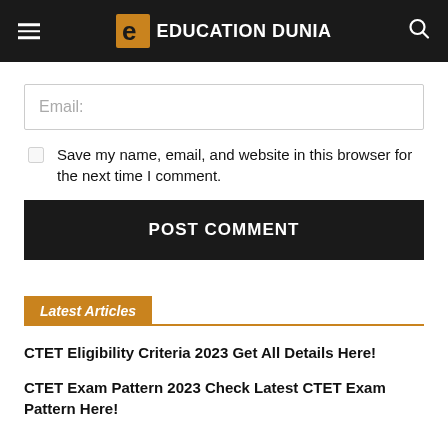Education Dunia
Email:
Save my name, email, and website in this browser for the next time I comment.
POST COMMENT
Latest Articles
CTET Eligibility Criteria 2023 Get All Details Here!
CTET Exam Pattern 2023 Check Latest CTET Exam Pattern Here!